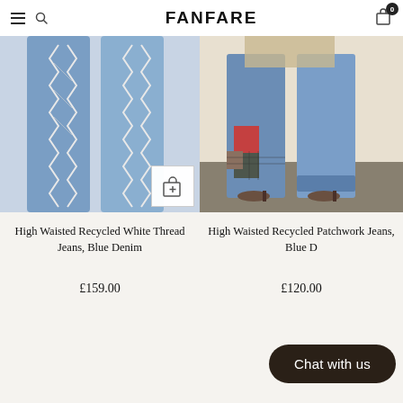FANFARE
[Figure (photo): High Waisted Recycled White Thread Jeans on a light blue denim background, close-up of legs]
[Figure (photo): High Waisted Recycled Patchwork Jeans, Blue Denim, worn by a model showing lower body]
High Waisted Recycled White Thread Jeans, Blue Denim
£159.00
High Waisted Recycled Patchwork Jeans, Blue D
£120.00
Chat with us